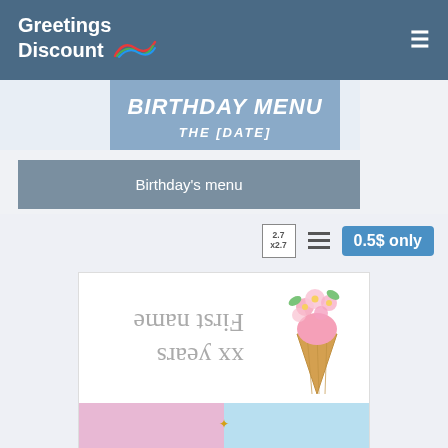Greetings Discount
[Figure (illustration): Birthday menu card showing 'BIRTHDAY MENU' title and 'THE [DATE]' subtitle in italic white text on a blue background]
Birthday's menu
2.7 x2.7
0.5$ only
[Figure (illustration): Birthday greeting card showing mirrored/upside-down cursive text 'xx years' and 'First name' with a floral ice cream cone illustration on top, and a pastel pink-blue split background at the bottom with partial cursive text 'Guest']